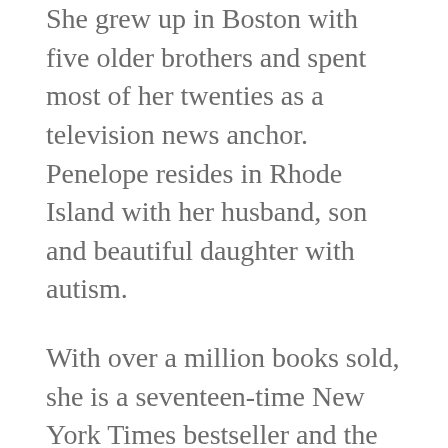She grew up in Boston with five older brothers and spent most of her twenties as a television news anchor. Penelope resides in Rhode Island with her husband, son and beautiful daughter with autism.
With over a million books sold, she is a seventeen-time New York Times bestseller and the author of over fifteen novels, including RoomHate which hit #2 on the New York Times bestseller list and #1 on the Wall Street Journal bestseller list. Other New York Times bestsellers include Stepbrother Dearest, Neighbor Dearest, Drunk Dial, Cocky Bastard, Stuck-Up Suit, Playboy Pilot and Mister Moneybags (the latter four co-written with Vi Keeland).